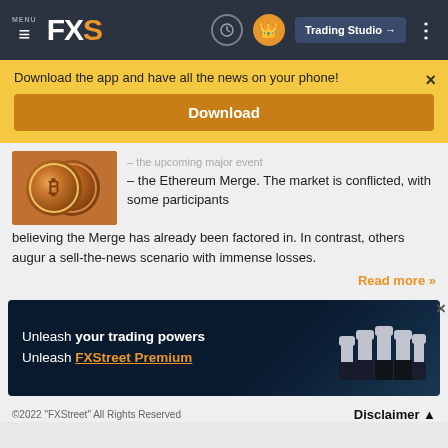MENU FXS | Trading Studio
Download the app and have all the news on your phone!
Download
[Figure (photo): Bitcoin/Ethereum copper coins close-up photograph]
– the Ethereum Merge. The market is conflicted, with some participants believing the Merge has already been factored in. In contrast, others augur a sell-the-news scenario with immense losses.
Read more »
[Figure (infographic): FXStreet Premium advertisement banner with raised fists silhouette on blue city background. Text: Unleash your trading powers Unleash FXStreet Premium]
©2022 "FXStreet" All Rights Reserved    Disclaimer ▲